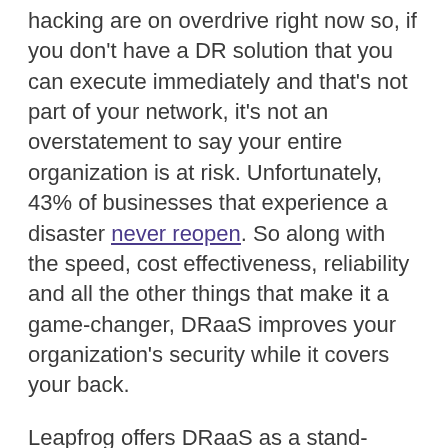hacking are on overdrive right now so, if you don't have a DR solution that you can execute immediately and that's not part of your network, it's not an overstatement to say your entire organization is at risk. Unfortunately, 43% of businesses that experience a disaster never reopen. So along with the speed, cost effectiveness, reliability and all the other things that make it a game-changer, DRaaS improves your organization's security while it covers your back.
Leapfrog offers DRaaS as a stand-alone service within our cloud-based disaster recovery solutions, or as part of our managed IT services. Please let us know if